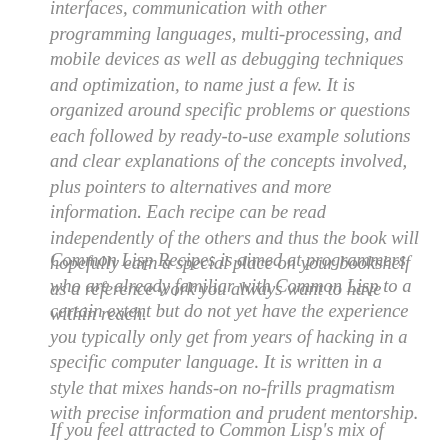interfaces, communication with other programming languages, multi-processing, and mobile devices as well as debugging techniques and optimization, to name just a few. It is organized around specific problems or questions each followed by ready-to-use example solutions and clear explanations of the concepts involved, plus pointers to alternatives and more information. Each recipe can be read independently of the others and thus the book will hopefully earn a special place on your bookshelf as a reference work you always want to have within reach.
Common Lisp Recipes is aimed at programmers who are already familiar with Common Lisp to a certain extent but do not yet have the experience you typically only get from years of hacking in a specific computer language. It is written in a style that mixes hands-on no-frills pragmatism with precise information and prudent mentorship.
If you feel attracted to Common Lisp's mix of